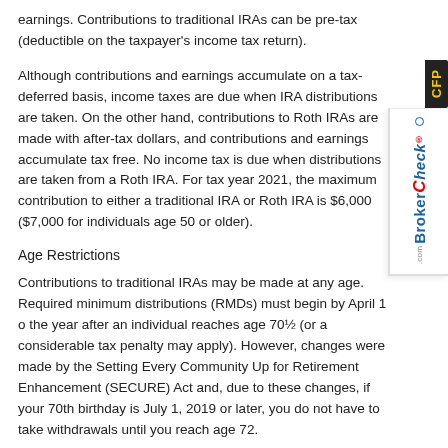earnings. Contributions to traditional IRAs can be pre-tax (deductible on the taxpayer's income tax return).
Although contributions and earnings accumulate on a tax-deferred basis, income taxes are due when IRA distributions are taken. On the other hand, contributions to Roth IRAs are made with after-tax dollars, and contributions and earnings accumulate tax free. No income tax is due when distributions are taken from a Roth IRA. For tax year 2021, the maximum contribution to either a traditional IRA or Roth IRA is $6,000 ($7,000 for individuals age 50 or older).
Age Restrictions
Contributions to traditional IRAs may be made at any age. Required minimum distributions (RMDs) must begin by April 1 of the year after an individual reaches age 70½ (or a considerable tax penalty may apply). However, changes were made by the Setting Every Community Up for Retirement Enhancement (SECURE) Act and, due to these changes, if your 70th birthday is July 1, 2019 or later, you do not have to take withdrawals until you reach age 72.
Roth IRAs have neither an age limit for contributions nor minimum distribution requirements. However, both traditional
[Figure (logo): BrokerCheck logo with CFP badge, displayed vertically on the right side of the page]